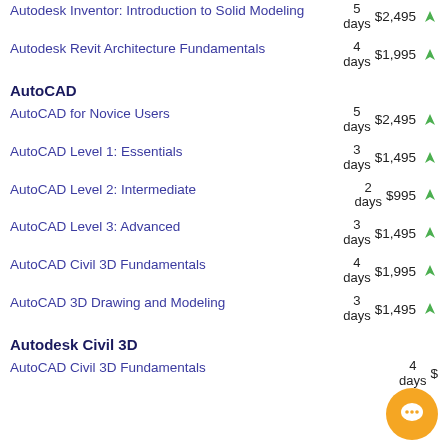Autodesk Inventor: Introduction to Solid Modeling – 5 days $2,495
Autodesk Revit Architecture Fundamentals – 4 days $1,995
AutoCAD
AutoCAD for Novice Users – 5 days $2,495
AutoCAD Level 1: Essentials – 3 days $1,495
AutoCAD Level 2: Intermediate – 2 days $995
AutoCAD Level 3: Advanced – 3 days $1,495
AutoCAD Civil 3D Fundamentals – 4 days $1,995
AutoCAD 3D Drawing and Modeling – 3 days $1,495
Autodesk Civil 3D
AutoCAD Civil 3D Fundamentals – 4 days $